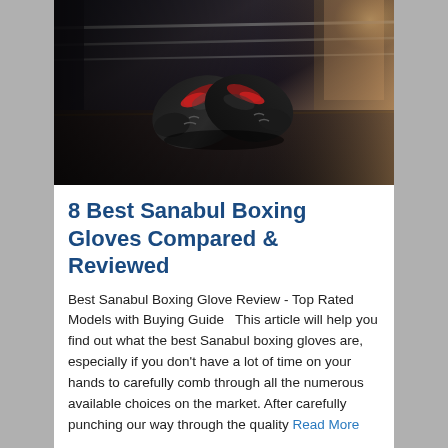[Figure (photo): A pair of black and red boxing gloves resting on the floor of a boxing ring, with ropes and gym equipment visible in the background. Warm lighting from the right side.]
8 Best Sanabul Boxing Gloves Compared & Reviewed
Best Sanabul Boxing Glove Review - Top Rated Models with Buying Guide   This article will help you find out what the best Sanabul boxing gloves are, especially if you don't have a lot of time on your hands to carefully comb through all the numerous available choices on the market. After carefully punching our way through the quality Read More